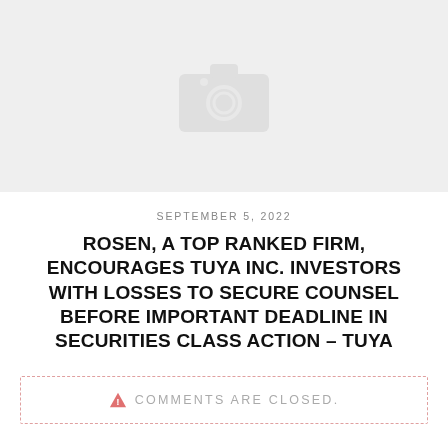[Figure (photo): Gray image placeholder with camera icon]
SEPTEMBER 5, 2022
ROSEN, A TOP RANKED FIRM, ENCOURAGES TUYA INC. INVESTORS WITH LOSSES TO SECURE COUNSEL BEFORE IMPORTANT DEADLINE IN SECURITIES CLASS ACTION – TUYA
Comments are closed.